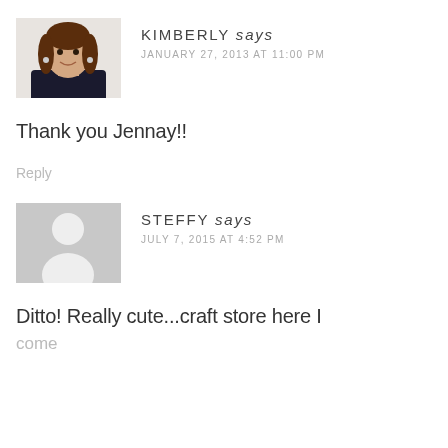[Figure (photo): Profile photo of Kimberly, a woman with brown hair smiling, wearing a dark jacket]
KIMBERLY says
JANUARY 27, 2013 AT 11:00 PM
Thank you Jennay!!
Reply
[Figure (illustration): Generic gray silhouette avatar placeholder for user Steffy]
STEFFY says
JULY 7, 2015 AT 4:52 PM
Ditto! Really cute...craft store here I come